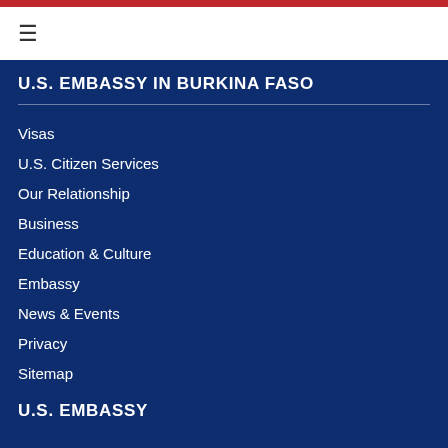≡
U.S. EMBASSY IN BURKINA FASO
Visas
U.S. Citizen Services
Our Relationship
Business
Education & Culture
Embassy
News & Events
Privacy
Sitemap
U.S. EMBASSY